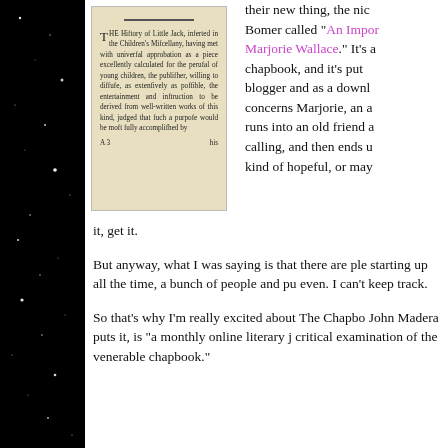[Figure (photo): Scanned page from an old book showing the beginning of 'The History of Little Jack', printed in an 18th-century typeface with a decorative drop cap T.]
their new thing, the nic Bomer called “An Impor Marjorie Wallace.” It’s a chapbook, and it’s put blogger and as a downl concerns Marjorie, an a runs into an old friend a calling, and then ends u kind of hopeful, or may it, get it.
But anyway, what I was saying is that there are ple starting up all the time, a bunch of people and pu even. I can’t keep track.
So that’s why I’m really excited about The Chapbo John Madera puts it, is “a monthly online literary j critical examination of the venerable chapbook.”